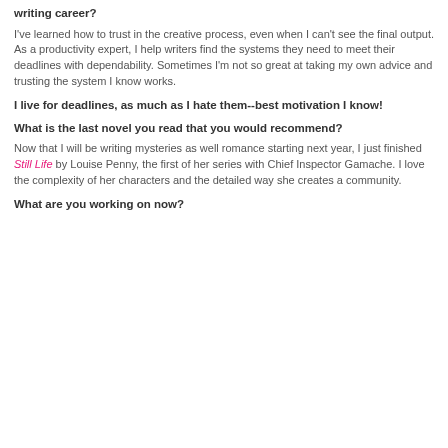writing career?
I've learned how to trust in the creative process, even when I can't see the final output. As a productivity expert, I help writers find the systems they need to meet their deadlines with dependability. Sometimes I'm not so great at taking my own advice and trusting the system I know works.
I live for deadlines, as much as I hate them--best motivation I know!
What is the last novel you read that you would recommend?
Now that I will be writing mysteries as well romance starting next year, I just finished Still Life by Louise Penny, the first of her series with Chief Inspector Gamache. I love the complexity of her characters and the detailed way she creates a community.
What are you working on now?